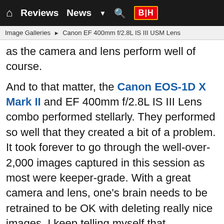Reviews  News  ▼  🔍  B|H
Image Galleries ▶ Canon EF 400mm f/2.8L IS III USM Lens
as the camera and lens perform well of course.
And to that matter, the Canon EOS-1D X Mark II and EF 400mm f/2.8L IS III Lens combo performed stellarly. They performed so well that they created a bit of a problem. It took forever to go through the well-over-2,000 images captured in this session as most were keeper-grade. With a great camera and lens, one's brain needs to be retrained to be OK with deleting really nice images. I keep telling myself that.
With steady lighting conditions (solid clouds), the setup for this shot was easy. Using manual mode, the shutter was set to 1/1600, a setting that I know works well for freezing galloping/cantering horse